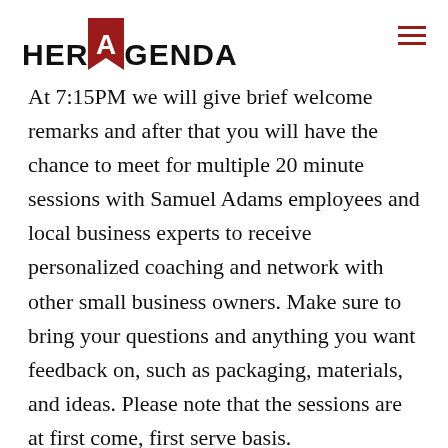HER AGENDA
At 7:15PM we will give brief welcome remarks and after that you will have the chance to meet for multiple 20 minute sessions with Samuel Adams employees and local business experts to receive personalized coaching and network with other small business owners. Make sure to bring your questions and anything you want feedback on, such as packaging, materials, and ideas. Please note that the sessions are at first come, first serve basis.
Click here to register